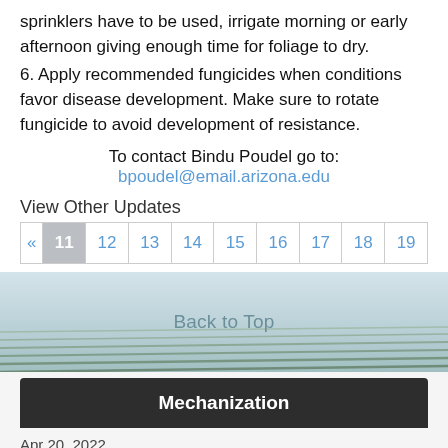sprinklers have to be used, irrigate morning or early afternoon giving enough time for foliage to dry.
6. Apply recommended fungicides when conditions favor disease development. Make sure to rotate fungicide to avoid development of resistance.
To contact Bindu Poudel go to: bpoudel@email.arizona.edu
View Other Updates
« 11 12 13 14 15 16 17 18 19
Back to Top
Mechanization
Apr 20, 2022
Specialty Crop Agricultural